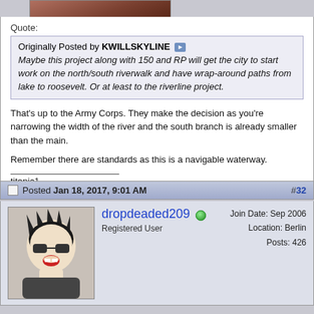[Figure (photo): Cropped top of avatar or header image, reddish-brown tones]
Quote:
Originally Posted by KWILLSKYLINE ▶ Maybe this project along with 150 and RP will get the city to start work on the north/south riverwalk and have wrap-around paths from lake to roosevelt. Or at least to the riverline project.
That's up to the Army Corps. They make the decision as you're narrowing the width of the river and the south branch is already smaller than the main.

Remember there are standards as this is a navigable waterway.
titanic1
Posted Jan 18, 2017, 9:01 AM
#32
[Figure (illustration): Cartoon avatar of person with sunglasses, spiky hair, mouth open]
dropdeaded209
Registered User
Join Date: Sep 2006
Location: Berlin
Posts: 426